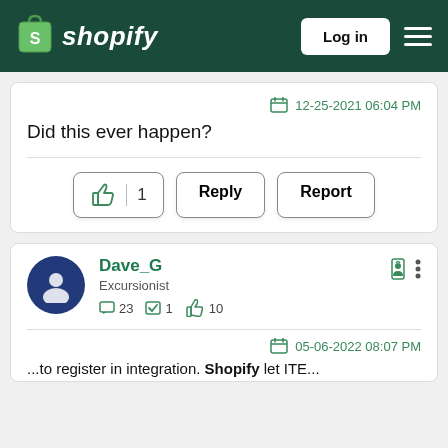Shopify — Log in
12-25-2021 06:04 PM
Did this ever happen?
[Figure (screenshot): Like button with count 1, Reply button, Report button]
Dave_G
Excursionist
23  1  10
05-06-2022 08:07 PM